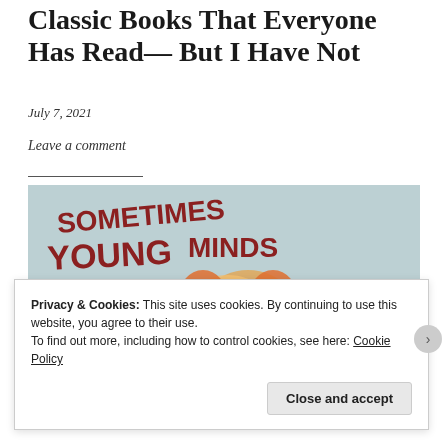Classic Books That Everyone Has Read— But I Have Not
July 7, 2021
Leave a comment
[Figure (photo): Photo of book spines (J.B. Priestle, F. Scott [Fitzgerald], Shirley Ja[ckson]) held up in front of a colorful illustrated t-shirt/fabric reading 'SOMETIMES YOUNG MINDS OVERFLOW' with a cartoon character graphic.]
Privacy & Cookies: This site uses cookies. By continuing to use this website, you agree to their use.
To find out more, including how to control cookies, see here: Cookie Policy
Close and accept